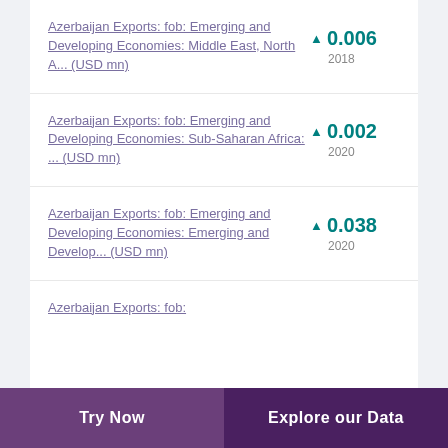Azerbaijan Exports: fob: Emerging and Developing Economies: Middle East, North A... (USD mn)
Azerbaijan Exports: fob: Emerging and Developing Economies: Sub-Saharan Africa: ... (USD mn)
Azerbaijan Exports: fob: Emerging and Developing Economies: Emerging and Develop... (USD mn)
Azerbaijan Exports: fob:
Try Now | Explore our Data